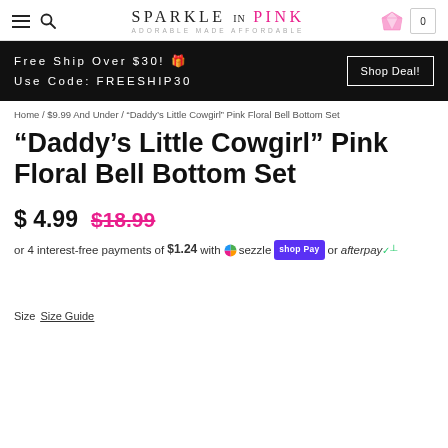Sparkle in Pink — ADORABLE MADE AFFORDABLE
Free Ship Over $30! 🎁 Use Code: FREESHIP30  |  Shop Deal!
Home / $9.99 And Under / "Daddy's Little Cowgirl" Pink Floral Bell Bottom Set
"Daddy's Little Cowgirl" Pink Floral Bell Bottom Set
$ 4.99  $18.99
or 4 interest-free payments of $1.24 with sezzle shop Pay or afterpay
Size Size Guide